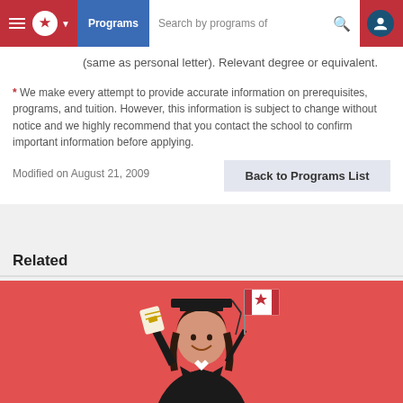Programs  Search by programs of
(same as personal letter). Relevant degree or equivalent.
* We make every attempt to provide accurate information on prerequisites, programs, and tuition. However, this information is subject to change without notice and we highly recommend that you contact the school to confirm important information before applying.
Modified on August 21, 2009
Back to Programs List
Related
[Figure (photo): A smiling female graduate in black cap and gown, holding a diploma and a Canadian flag, against a red/coral background.]